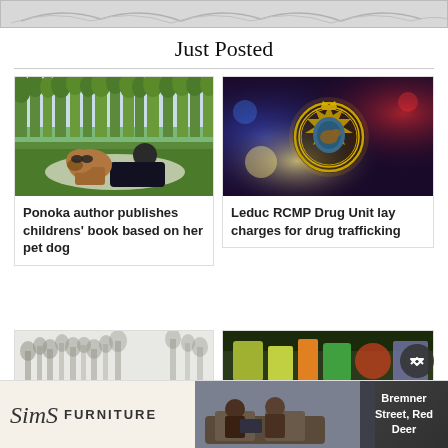[Figure (photo): Top banner image, partially visible]
Just Posted
[Figure (photo): Woman lying on grass with a boxer dog in a park setting]
Ponoka author publishes childrens’ book based on her pet dog
[Figure (photo): RCMP badge with police lights in background]
Leduc RCMP Drug Unit lay charges for drug trafficking
[Figure (photo): Partially visible image, bottom left card]
[Figure (photo): Partially visible image with colorful objects, bottom right card]
[Figure (photo): Sims Furniture advertisement banner with people on couch and Bremner Street, Red Deer address]